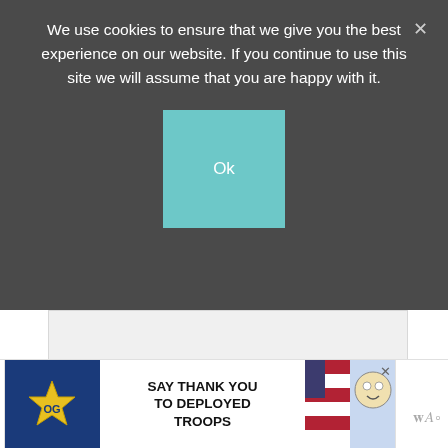We use cookies to ensure that we give you the best experience on our website. If you continue to use this site we will assume that you are happy with it.
Ok
[Figure (other): Advertisement placeholder area with Wt logo watermark]
Comfort Food with a Capitol “C.”  The gravy is amazing and then you serve these meatballs and gravy over fluffy mashed potatoes?  This has your next Sunday family dinner written all over it!
[Figure (other): Operation Gratitude banner advertisement: SAY THANK YOU TO DEPLOYED TROOPS, with patriotic imagery and cartoon character]